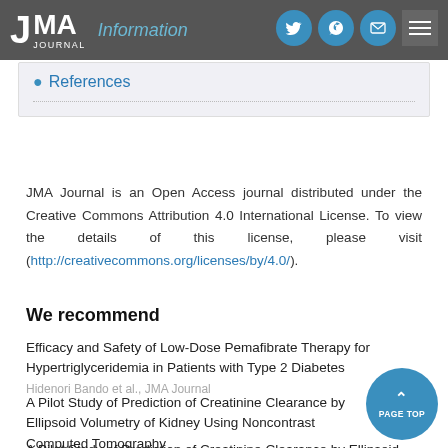JMA Journal — Article Information
References
JMA Journal is an Open Access journal distributed under the Creative Commons Attribution 4.0 International License. To view the details of this license, please visit (http://creativecommons.org/licenses/by/4.0/).
We recommend
Efficacy and Safety of Low-Dose Pemafibrate Therapy for Hypertriglyceridemia in Patients with Type 2 Diabetes
Hidenori Bando et al., JMA Journal
A Pilot Study of Prediction of Creatinine Clearance by Ellipsoid Volumetry of Kidney Using Noncontrast Computed Tomography
Mitsuhiro Matsuo1 et al., JMA Journal
A Pilot Study of Prediction of Creatinine Clearance by Ellipsoid